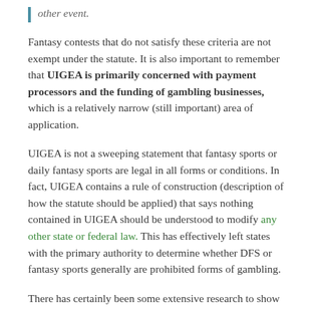other event.
Fantasy contests that do not satisfy these criteria are not exempt under the statute. It is also important to remember that UIGEA is primarily concerned with payment processors and the funding of gambling businesses, which is a relatively narrow (still important) area of application.
UIGEA is not a sweeping statement that fantasy sports or daily fantasy sports are legal in all forms or conditions. In fact, UIGEA contains a rule of construction (description of how the statute should be applied) that says nothing contained in UIGEA should be understood to modify any other state or federal law. This has effectively left states with the primary authority to determine whether DFS or fantasy sports generally are prohibited forms of gambling.
There has certainly been some extensive research to show